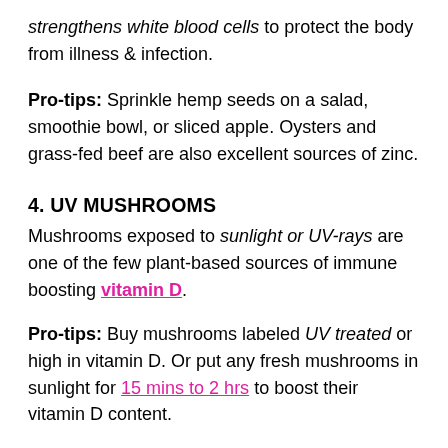strengthens white blood cells to protect the body from illness & infection.
Pro-tips: Sprinkle hemp seeds on a salad, smoothie bowl, or sliced apple. Oysters and grass-fed beef are also excellent sources of zinc.
4. UV MUSHROOMS
Mushrooms exposed to sunlight or UV-rays are one of the few plant-based sources of immune boosting vitamin D.
Pro-tips: Buy mushrooms labeled UV treated or high in vitamin D. Or put any fresh mushrooms in sunlight for 15 mins to 2 hrs to boost their vitamin D content.